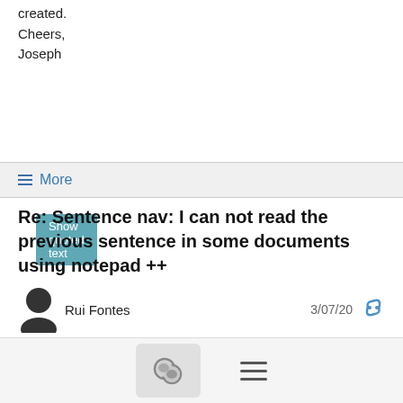created.
Cheers,
Joseph
Show quoted text
≡ More
Re: Sentence nav: I can not read the previous sentence in some documents using notepad ++
Rui Fontes   3/07/20
Gene, why you answer to questions you are not familiarized?
Daniel, how big are the files you try to read in NotePad? I have tried with a 1MB file and it tooks between 1 and 2 seconds to start reading a sentence or phrase.